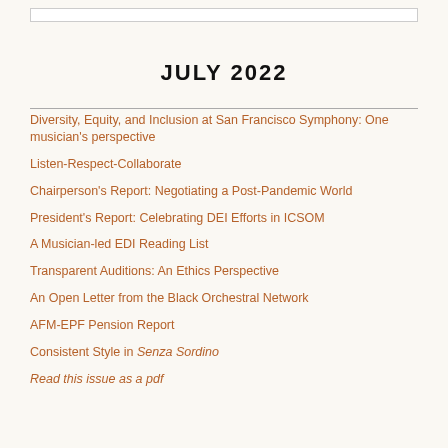JULY 2022
Diversity, Equity, and Inclusion at San Francisco Symphony: One musician's perspective
Listen-Respect-Collaborate
Chairperson's Report: Negotiating a Post-Pandemic World
President's Report: Celebrating DEI Efforts in ICSOM
A Musician-led EDI Reading List
Transparent Auditions: An Ethics Perspective
An Open Letter from the Black Orchestral Network
AFM-EPF Pension Report
Consistent Style in Senza Sordino
Read this issue as a pdf